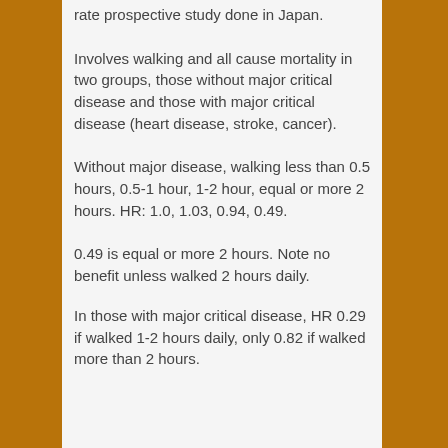rate prospective study done in Japan. Involves walking and all cause mortality in two groups, those without major critical disease and those with major critical disease (heart disease, stroke, cancer). Without major disease, walking less than 0.5 hours, 0.5-1 hour, 1-2 hour, equal or more 2 hours. HR: 1.0, 1.03, 0.94, 0.49. 0.49 is equal or more 2 hours. Note no benefit unless walked 2 hours daily.
In those with major critical disease, HR 0.29 if walked 1-2 hours daily, only 0.82 if walked more than 2 hours.